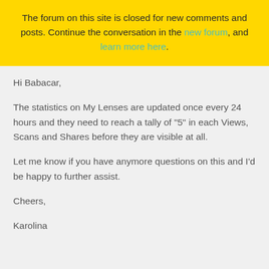The forum on this site is closed for new comments and posts. Continue the conversation in the new forum, and learn more here.
Hi Babacar,
The statistics on My Lenses are updated once every 24 hours and they need to reach a tally of "5" in each Views, Scans and Shares before they are visible at all.
Let me know if you have anymore questions on this and I'd be happy to further assist.
Cheers,
Karolina